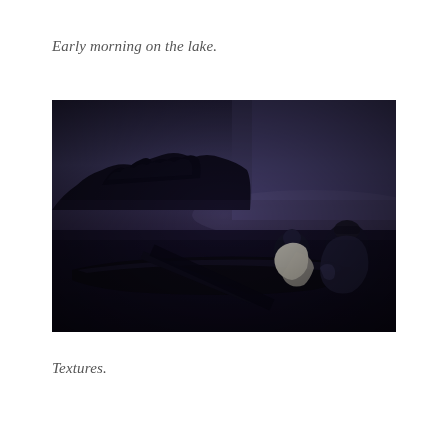Early morning on the lake.
[Figure (photo): Dark pre-dawn scene on a lake. Two people viewed from behind stand near a dark boat. A silhouetted tree-covered landmass is visible in the misty blue-purple background. The overall image is very dark with a moody atmospheric quality.]
Textures.